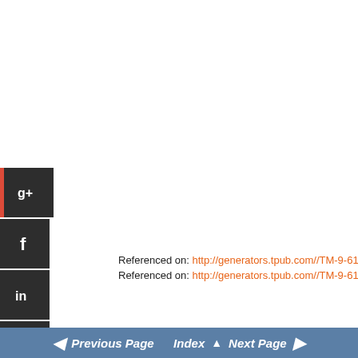[Figure (other): Social media share buttons: Google+, Facebook, LinkedIn, Twitter, a group/share icon, and StumbleUpon, stacked vertically on the left side of the page]
Referenced on: http://generators.tpub.com//TM-9-6115-730-24P/TM...
Referenced on: http://generators.tpub.com//TM-9-6115-730-24P/TM...
< Previous Page  Index ▲  Next Page >